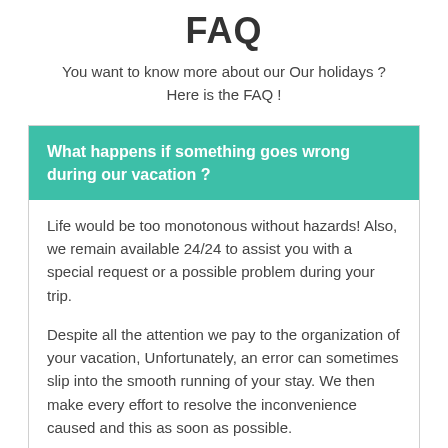FAQ
You want to know more about our Our holidays ? Here is the FAQ !
What happens if something goes wrong during our vacation ?
Life would be too monotonous without hazards! Also, we remain available 24/24 to assist you with a special request or a possible problem during your trip.
Despite all the attention we pay to the organization of your vacation, Unfortunately, an error can sometimes slip into the smooth running of your stay. We then make every effort to resolve the inconvenience caused and this as soon as possible.